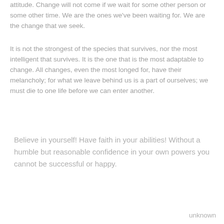attitude. Change will not come if we wait for some other person or some other time. We are the ones we've been waiting for. We are the change that we seek.
It is not the strongest of the species that survives, nor the most intelligent that survives. It is the one that is the most adaptable to change. All changes, even the most longed for, have their melancholy; for what we leave behind us is a part of ourselves; we must die to one life before we can enter another.
Believe in yourself! Have faith in your abilities! Without a humble but reasonable confidence in your own powers you cannot be successful or happy.
unknown